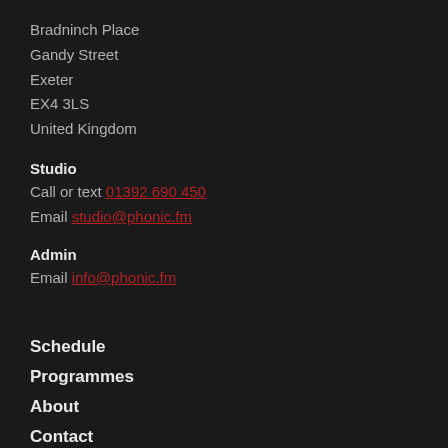Bradninch Place
Gandy Street
Exeter
EX4 3LS
United Kingdom
Studio
Call or text 01392 690 450
Email studio@phonic.fm
Admin
Email info@phonic.fm
Schedule
Programmes
About
Contact
Listen
Support